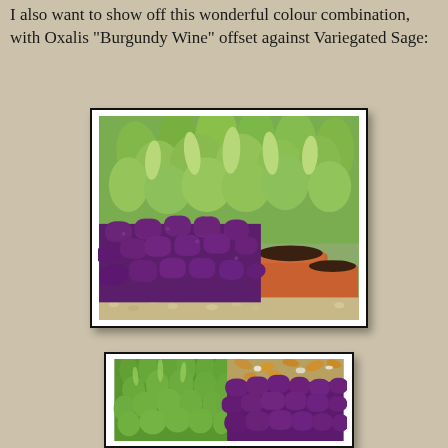I also want to show off this wonderful colour combination, with Oxalis "Burgundy Wine" offset against Variegated Sage:
[Figure (photo): Garden photo showing purple Oxalis 'Burgundy Wine' plants in foreground with variegated sage (green/yellow foliage) in terracotta pots in the background, gravel ground cover visible]
[Figure (photo): Close-up garden photo split showing bright green variegated sage on the left and deep purple Oxalis 'Burgundy Wine' on the right, with gravel and autumn leaves visible]